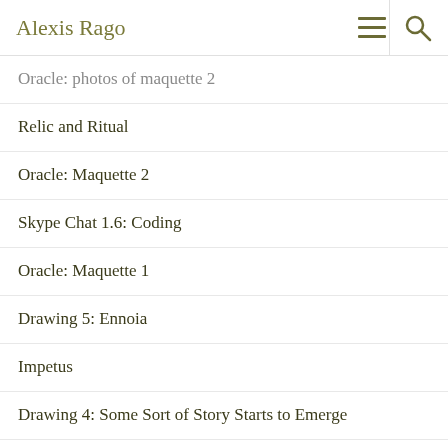Alexis Rago
Oracle: photos of maquette 2
Relic and Ritual
Oracle: Maquette 2
Skype Chat 1.6: Coding
Oracle: Maquette 1
Drawing 5: Ennoia
Impetus
Drawing 4: Some Sort of Story Starts to Emerge
Skype Chat 1.5: Unit 1 and Project Proposal
Leaving Breadcrumbs and Getting Lost in the Process, Outcome and Acceptance
Drawing Studi...